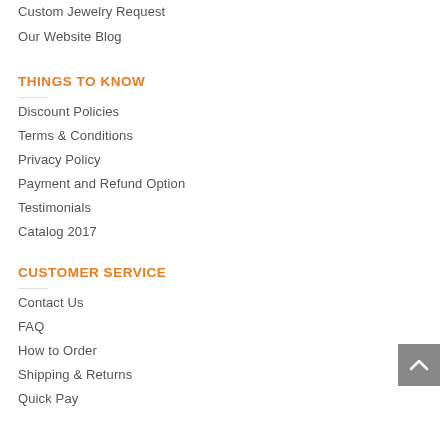Custom Jewelry Request
Our Website Blog
THINGS TO KNOW
Discount Policies
Terms & Conditions
Privacy Policy
Payment and Refund Option
Testimonials
Catalog 2017
CUSTOMER SERVICE
Contact Us
FAQ
How to Order
Shipping & Returns
Quick Pay
[Figure (other): Back to top arrow button (grey square with upward chevron)]